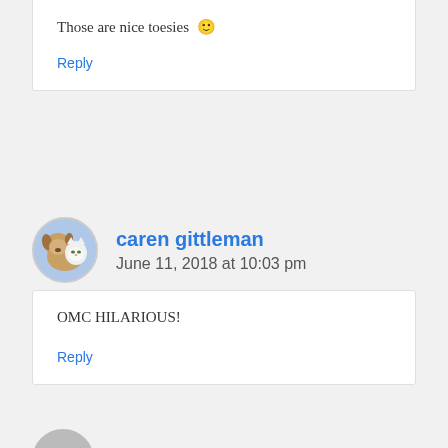Those are nice toesies 🙂
Reply
[Figure (photo): Circular avatar photo showing a dog and cat together]
caren gittleman
June 11, 2018 at 10:03 pm
OMC HILARIOUS!
Reply
[Figure (photo): Circular avatar photo, partially visible at bottom]